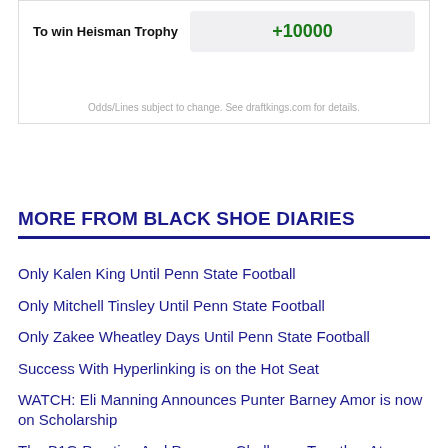|  |  |
| --- | --- |
| To win Heisman Trophy | +10000 |
Odds/Lines subject to change. See draftkings.com for details.
MORE FROM BLACK SHOE DIARIES
Only Kalen King Until Penn State Football
Only Mitchell Tinsley Until Penn State Football
Only Zakee Wheatley Days Until Penn State Football
Success With Hyperlinking is on the Hot Seat
WATCH: Eli Manning Announces Punter Barney Amor is now on Scholarship
The B1G Prestige And Pressure Challenge Together At...